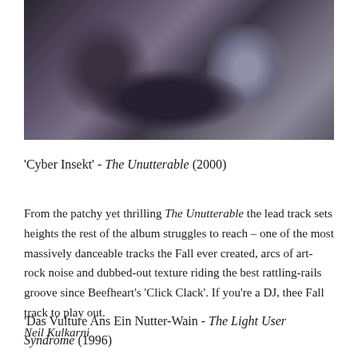[Figure (photo): Dark grainy photograph showing people, possibly at a music event, with muted purple and grey tones]
'Cyber Insekt' - The Unutterable (2000)
From the patchy yet thrilling The Unutterable the lead track sets heights the rest of the album struggles to reach – one of the most massively danceable tracks the Fall ever created, arcs of art-rock noise and dubbed-out texture riding the best rattling-rails groove since Beefheart's 'Click Clack'. If you're a DJ, thee Fall track to play out.
Neil Kulkarni
'Das Vulture Ans Ein Nutter-Wain - The Light User Syndrome (1996)